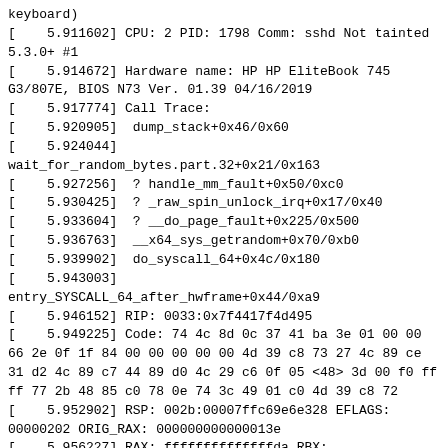keyboard)
[    5.911602] CPU: 2 PID: 1798 Comm: sshd Not tainted 5.3.0+ #1
[    5.914672] Hardware name: HP HP EliteBook 745 G3/807E, BIOS N73 Ver. 01.39 04/16/2019
[    5.917774] Call Trace:
[    5.920905]  dump_stack+0x46/0x60
[    5.924044] wait_for_random_bytes.part.32+0x21/0x163
[    5.927256]  ? handle_mm_fault+0x50/0xc0
[    5.930425]  ? _raw_spin_unlock_irq+0x17/0x40
[    5.933604]  ? __do_page_fault+0x225/0x500
[    5.936763]  __x64_sys_getrandom+0x70/0xb0
[    5.939902]  do_syscall_64+0x4c/0x180
[    5.943003] entry_SYSCALL_64_after_hwframe+0x44/0xa9
[    5.946152] RIP: 0033:0x7f4417f4d495
[    5.949225] Code: 74 4c 8d 0c 37 41 ba 3e 01 00 00 66 2e 0f 1f 84 00 00 00 00 00 4d 39 c8 73 27 4c 89 ce 31 d2 4c 89 c7 44 89 d0 4c 29 c6 0f 05 <48> 3d 00 f0 ff ff 77 2b 48 85 c0 78 0e 74 3c 49 01 c0 4d 39 c8 72
[    5.952902] RSP: 002b:00007ffc69e6e328 EFLAGS: 00000202 ORIG_RAX: 000000000000013e
[    5.956227] RAX: ffffffffffffffda RBX: 0000000000000020 RCX: 00007f4417f4d495
[    5.959530] RDX: 0000000000000000 RSI: 0000000000000020 RDI: 0000559262c74780
[    5.962820] RBP: 0000559262c708b0 R08: 0000559262c74780 R09: 0000559262c747a0
[    5.966104] R10: 000000000000013e R11: